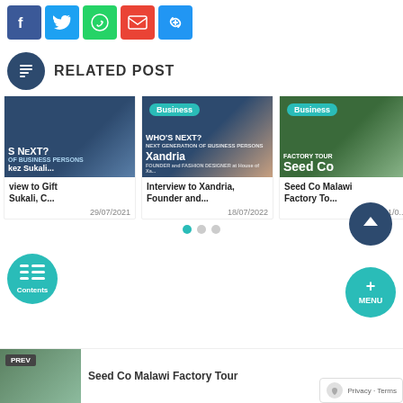[Figure (infographic): Social share buttons row: Facebook (blue), Twitter (light blue), WhatsApp (green), Gmail (red), Link (blue)]
RELATED POST
[Figure (infographic): Card 1: Who's Next business persons - Gift Sukali, C... dated 29/07/2021]
[Figure (infographic): Card 2: Business - Interview to Xandria, Founder and... dated 18/07/2022 with Business badge]
[Figure (infographic): Card 3: Business - Seed Co Malawi Factory To... dated 31/0... with Business badge]
[Figure (infographic): Prev navigation bar with image and text: Seed Co Malawi Factory Tour]